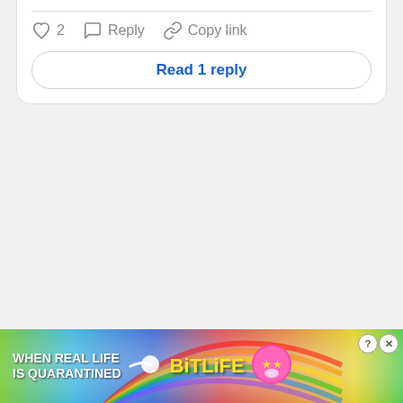[Figure (screenshot): Comment interaction area with like (heart) icon showing count of 2, Reply button, and Copy link button]
Read 1 reply
[Figure (screenshot): Advertisement banner for BitLife game with rainbow background and text 'WHEN REAL LIFE IS QUARANTINED' next to BitLife logo]